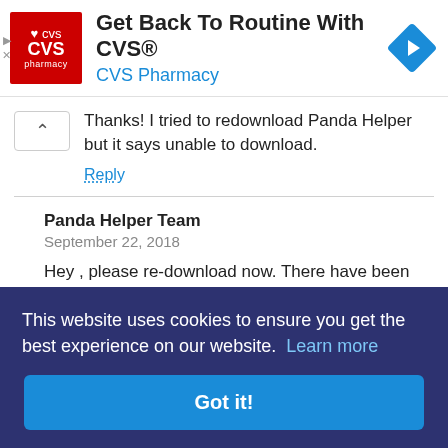[Figure (screenshot): CVS Pharmacy advertisement banner with red logo, headline 'Get Back To Routine With CVS®', 'CVS Pharmacy' subtitle in blue, and a blue navigation arrow diamond icon]
Thanks! I tried to redownload Panda Helper but it says unable to download.
Reply
Panda Helper Team
September 22, 2018

Hey , please re-download now. There have been spike in the download server due to heavy traffic , causing downloads to stop midway.
This website uses cookies to ensure you get the best experience on our website. Learn more

Got it!